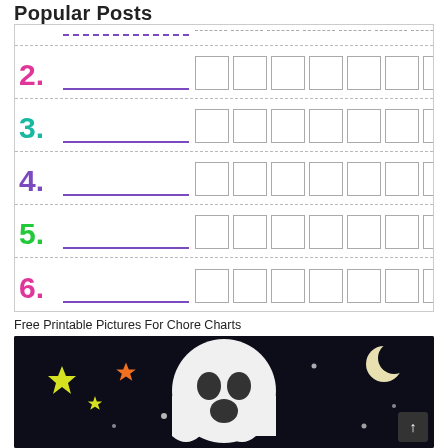Popular Posts
[Figure (other): A printable chore chart with numbered rows 2-6. Each row has a large colorful number, a blank fill-in line, and 7 checkbox squares. Row 2: pink/magenta, Row 3: teal, Row 4: purple, Row 5: green, Row 6: pink/magenta. A dashed header row is at the top.]
Free Printable Pictures For Chore Charts
[Figure (photo): A ghost made from a white balloon or fabric with black dot eyes and open mouth, displayed against a dark background with colorful stars and a crescent moon. A dark back-to-top button with an upward arrow is in the bottom right corner.]